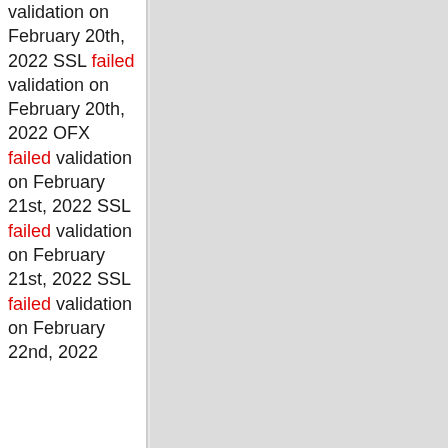validation on February 20th, 2022 SSL failed validation on February 20th, 2022 OFX failed validation on February 21st, 2022 SSL failed validation on February 21st, 2022 SSL failed validation on February 22nd, 2022